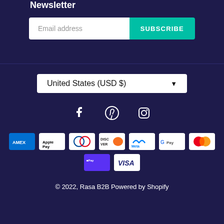Newsletter
Email address
SUBSCRIBE
United States (USD $)
[Figure (infographic): Social media icons: Facebook, Pinterest, Instagram]
[Figure (infographic): Payment method icons: American Express, Apple Pay, Diners Club, Discover, Meta Pay, Google Pay, Mastercard, Shop Pay, Visa]
© 2022, Rasa B2B Powered by Shopify